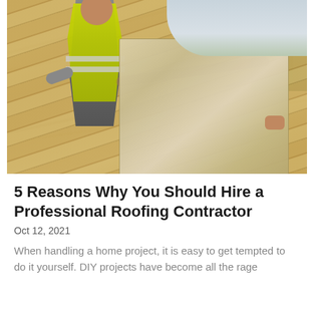[Figure (photo): A construction worker wearing a yellow high-visibility vest laying insulation boards on a sloped wooden roof structure, with trees and cloudy sky visible in the background.]
5 Reasons Why You Should Hire a Professional Roofing Contractor
Oct 12, 2021
When handling a home project, it is easy to get tempted to do it yourself. DIY projects have become all the rage